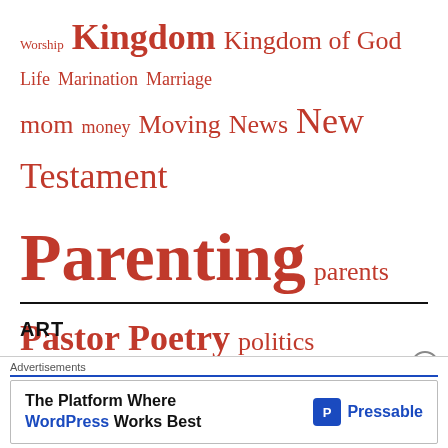[Figure (other): Tag cloud of religious and lifestyle blog topics in varying font sizes, all in red/crimson color. Tags include: Worship, Kingdom, Kingdom of God, Life, Marination, Marriage, mom, money, Moving, News, New Testament, Parenting, parents, Pastor, Poetry, politics, Psalms, Religion, Religion and Spirituality, Sermon on the Mount, sex, shalom, spiritual, Spirituality, students, Sullivan County TN, Taylor Swift, Teenagers, Vocation, Weyden, Wine, Wisdom, Worship]
ART
Malcolm Hughes
[Figure (other): Advertisement banner: 'The Platform Where WordPress Works Best' with Pressable logo]